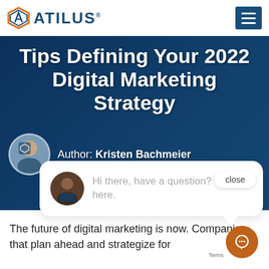ATILUS®
Tips Defining Your 2022 Digital Marketing Strategy
Author: Kristen Bachmeier
[Figure (photo): Author avatar photo of Kristen Bachmeier]
[Figure (screenshot): Chat popup with close button and agent avatar. Text: Hi there, have a question? Text us here.]
The future of digital marketing is now. Companies that plan ahead and strategize for